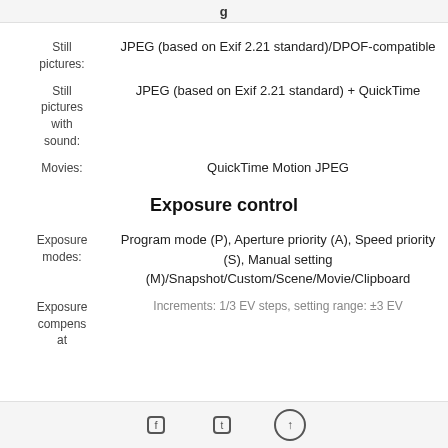|  |  |
| --- | --- |
| Still pictures: | JPEG (based on Exif 2.21 standard)/DPOF-compatible |
| Still pictures with sound: | JPEG (based on Exif 2.21 standard) + QuickTime |
| Movies: | QuickTime Motion JPEG |
Exposure control
|  |  |
| --- | --- |
| Exposure modes: | Program mode (P), Aperture priority (A), Speed priority (S), Manual setting (M)/Snapshot/Custom/Scene/Movie/Clipboard |
| Exposure compensation | Increments: 1/3 EV steps, setting range: ±3 EV |